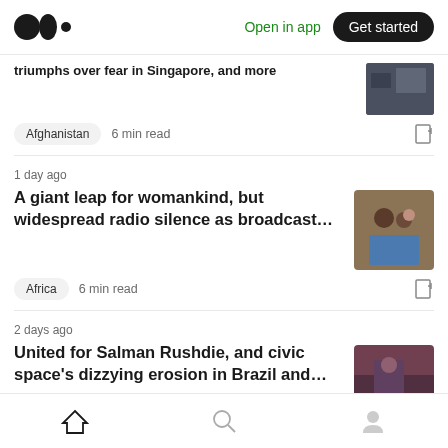Medium logo | Open in app | Get started
triumphs over fear in Singapore, and more
Afghanistan  6 min read
1 day ago
A giant leap for womankind, but widespread radio silence as broadcast…
Africa  6 min read
2 days ago
United for Salman Rushdie, and civic space's dizzying erosion in Brazil and…